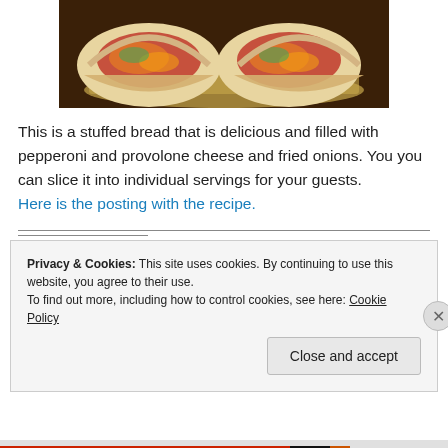[Figure (photo): Photo of stuffed bread filled with pepperoni, provolone cheese, and fried onions, sliced open on parchment paper]
This is a stuffed bread that is delicious and filled with pepperoni and provolone cheese and fried onions. You you can slice it into individual servings for your guests. Here is the posting with the recipe.
Privacy & Cookies: This site uses cookies. By continuing to use this website, you agree to their use. To find out more, including how to control cookies, see here: Cookie Policy